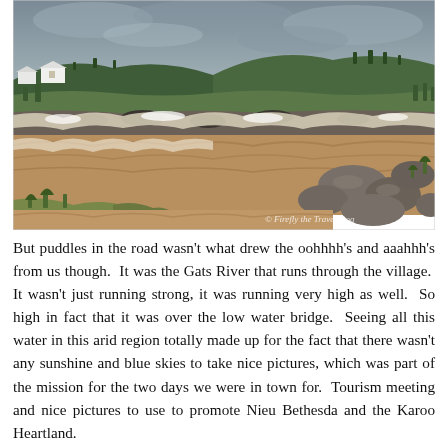[Figure (photo): A flooded river (Gats River) flowing strongly over a low water bridge in an arid landscape. Brown churning water cascades over rocky ledges. Green hills and trees are visible in the background under an overcast grey sky. A white building is visible in the upper left. A watermark reads '© Firefly the Travel Dog'.]
But puddles in the road wasn't what drew the oohhhh's and aaahhh's from us though.  It was the Gats River that runs through the village.  It wasn't just running strong, it was running very high as well.  So high in fact that it was over the low water bridge.  Seeing all this water in this arid region totally made up for the fact that there wasn't any sunshine and blue skies to take nice pictures, which was part of the mission for the two days we were in town for.  Tourism meeting and nice pictures to use to promote Nieu Bethesda and the Karoo Heartland.